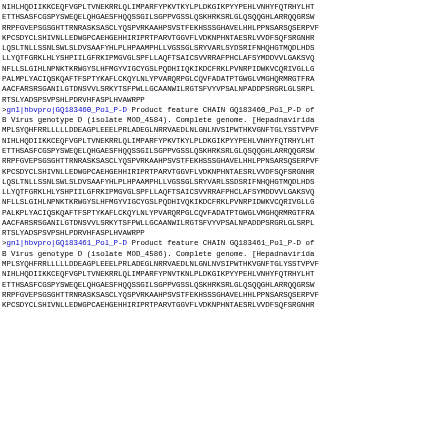NIHLHQDIIKKCEQFVGPLTVNEKRRLQLIMPARFYPKVTKYLPLDKGIKPYYPEHLVNHYFQTRHYLHTETTHSASFCGSPYSWEQELQHGAESFHQQSSGILSGPPVGSSLQSKHRKSRLGLQSQQGHLARRQQGRSWRRPFGVEPSGSGHTTRNRASKSASCLYQSPVRKAAHPSVSTFEKHSSSGHAVELHHLPPNSARSQSERPVFKPCSDYCLSHIVNLLEDWGPCAEHGEHHIRIPRTPARVTGGVFLVDKNPHNTAESRLVVDFSQFSRGNHRLQSLTNLLSSNLSWLSLDVSAAFYHLPLHPAAMPHLLVGSSGLSRYVARLSYDSRIFNHQHGTMQDLHDSLLYQTFGRKLHLYSHPIILGFRKIPMGVGLSPFLLAQFTSAICSVVRRAFPHCLAFSYMDDVVLGAKSVQNFLLSLGIHLNPNKTKRWGYSLHFMGYVIGCYGSLPQDHIIQKIKDCFRKLPVNRPIDWKVCQRIVGLLGPALMPLYACIQSKQAFTFSPTYKAFLCKQYLNLYPVARQRPGLCQVFADATPTGWGLVMGHQRMRGTFRAAACFARSRSGANILGTDNSVVLSRKYTSFPWLLGCAANWILRGTSFVYVPSALNPADDPSRGRLGLSRPLRTSLYADSPSVPSHLPDRVHFASPLHVAWRPP
>gnl|hbvpro|GQ183460_Pol_P-D Product feature CHAIN GQ183460_Pol_P-D of B Virus genotype D (isolate MOD_4584). Complete genome. [Hepadnaviridae] MPLSYQHFRRLLLLLDDEAGPLEEELPRLADEGLNRRVAEDLNLGNLNVSIPWTHKVGNFTGLYSSTVPVFNIHLHQDIIKKCEQFVGPLTVNEKRRLQLIMPARFYPKVTKYLPLDKGIKPYYPEHLVNHYFQTRHYLHTETTHSASFCGSPYSWEQELQHGAESFHQQSSGILSGPPVGSSLQSKHRKSRLGLQSQQGHLARRQQGRSWRRPFGVEPSGSGHTTRNRASKSASCLYQSPVRKAAHPSVSTFEKHSSSGHAVELHHLPPNSARSQSERPVFKPCSDYCLSHIVNLLEDWGPCAEHGEHHIRIPRTPARVTGGVFLVDKNPHNTAESRLVVDFSQFSRGNHRLQSLTNLLSSNLSWLSLDVSAAFYHLPLHPAAMPHLLVGSSGLSRYVARLSSDSRIFNHQHGTMQDLHDSLLYQTFGRKLHLYSHPIILGFRKIPMGVGLSPFLLAQFTSAICSVVRRAFPHCLAFSYMDDVVLGAKSVQNFLLSLGIHLNPNKTKRWGYSLHFMGYVIGCYGSLPQDHIVQKIKDCFRKLPVNRPIDWKVCQRIVGLLGPALKPLYACIQSKQAFTFSPTYKAFLCKQYLNLYPVARQRPGLCQVFADATPTGWGLVMGHQRMRGTFRAAACFARSRSGANILGTDNSVVLSRKYTSFPWLLGCAANWILRGTSFVYVPSALNPADDPSRGRLGLSRPLRTSLYADSPSVPSHLPDRVHFASPLHVAWRPP
>gnl|hbvpro|GQ183461_Pol_P-D Product feature CHAIN GQ183461_Pol_P-D of B Virus genotype D (isolate MOD_4586). Complete genome. [Hepadnaviridae] MPLSYQHFRRLLLLLDDEAGPLEEELPRLADEGLNRRVAEDLNLGNLNVSIPWTHKVGNFTGLYSSTVPVFNIHLHQDIIKKCEQFVGPLTVNEKRRLQLIMPARFYPNVTKNLPLDKGIKPYYPEHLVNHYFQTRHYLHTETTHSASFCGSPYSWEQELQHGAESFHQQSSGILSGPPVGSSLQSKHRKSRLGLQSQQGHLARRQQGRSWRRPFGVEPSGSGHTTRNRASKSASCLYQSPVRKAAHPSVSTFEKHSSSGHAVELHHLPPNSARSQSERPVFKPCSDYCLSHIVNLLEDWGPCAEHGEHHIRIPRTPARVTGGVFLVDKNPHNTAESRLVVDFSQFSRGNHR